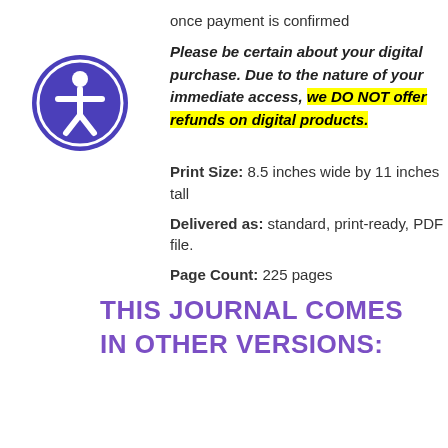once payment is confirmed
Please be certain about your digital purchase. Due to the nature of your immediate access, we DO NOT offer refunds on digital products.
Print Size: 8.5 inches wide by 11 inches tall
Delivered as: standard, print-ready, PDF file.
Page Count: 225 pages
THIS JOURNAL COMES IN OTHER VERSIONS: